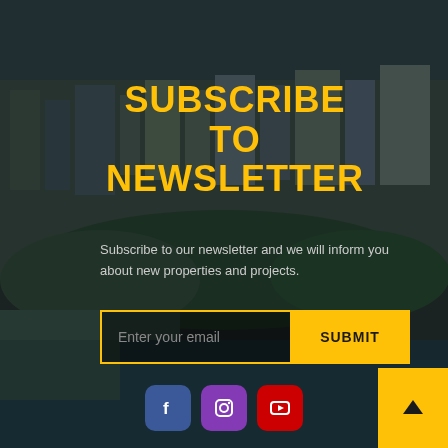[Figure (photo): Aerial view of a coastal city with buildings and waterfront, darkened with overlay]
SUBSCRIBE TO NEWSLETTER
Subscribe to our newsletter and we will inform you about new properties and projects.
Enter your email | SUBMIT button
[Figure (infographic): Social media icons: Facebook (blue), Instagram (purple), YouTube (red)]